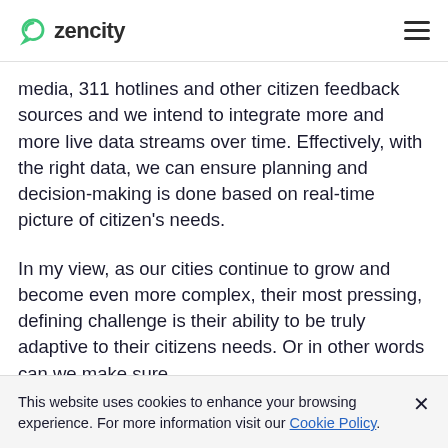zencity
media, 311 hotlines and other citizen feedback sources and we intend to integrate more and more live data streams over time. Effectively, with the right data, we can ensure planning and decision-making is done based on real-time picture of citizen's needs.
In my view, as our cities continue to grow and become even more complex, their most pressing, defining challenge is their ability to be truly adaptive to their citizens needs. Or in other words can we make sure
This website uses cookies to enhance your browsing experience. For more information visit our Cookie Policy.